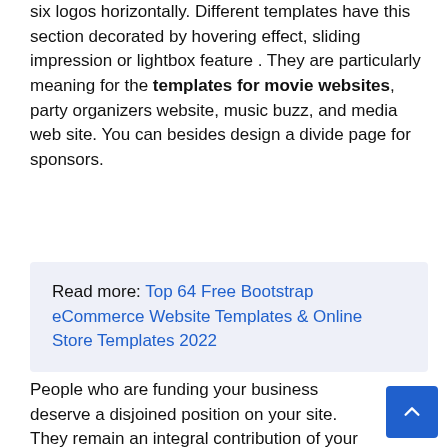six logos horizontally. Different templates have this section decorated by hovering effect, sliding impression or lightbox feature . They are particularly meaning for the templates for movie websites, party organizers website, music buzz, and media web site. You can besides design a divide page for sponsors.
Read more: Top 64 Free Bootstrap eCommerce Website Templates & Online Store Templates 2022
People who are funding your business deserve a disjoined position on your site. They remain an integral contribution of your success .